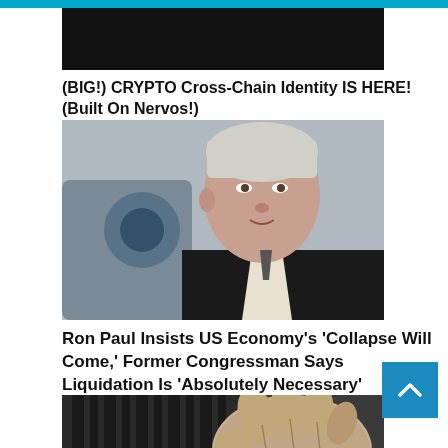[Figure (screenshot): Cyan/teal top banner strip]
[Figure (screenshot): Dark video thumbnail placeholder]
(BIG!) CRYPTO Cross-Chain Identity IS HERE! (Built On Nervos!)
[Figure (photo): Photo of Ron Paul, an elderly white-haired man speaking, with a blurred camera in the background]
Ron Paul Insists US Economy’s ‘Collapse Will Come,’ Former Congressman Says Liquidation Is ‘Absolutely Necessary’
[Figure (photo): Photo of a gloved hand gripping a large tire tread]
[Figure (other): Blue scroll-to-top button with upward chevron arrow]